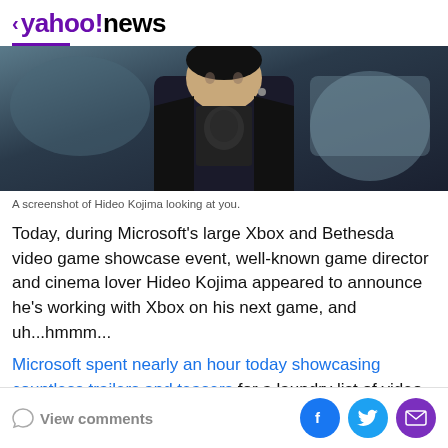< yahoo!news
[Figure (photo): Photo of Hideo Kojima, a person wearing a black jacket over a dark graphic t-shirt, looking at the camera, with a blurred background.]
A screenshot of Hideo Kojima looking at you.
Today, during Microsoft's large Xbox and Bethesda video game showcase event, well-known game director and cinema lover Hideo Kojima appeared to announce he's working with Xbox on his next game, and uh...hmmm...
Microsoft spent nearly an hour today showcasing countless trailers and teasers for a laundry list of video games, most of which are coming to Game Pass.
View comments